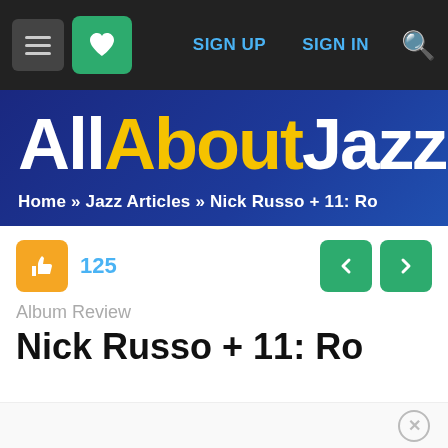SIGN UP  SIGN IN
[Figure (logo): All About Jazz logo on dark blue gradient banner with breadcrumb navigation: Home » Jazz Articles » Nick Russo + 11: Ro]
Home » Jazz Articles » Nick Russo + 11: Ro
125
Album Review
Nick Russo + 11: Ro